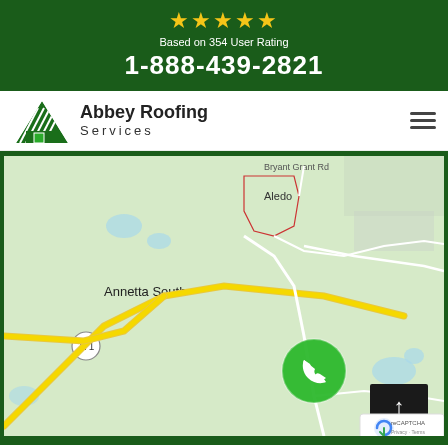★★★★★ Based on 354 User Rating 1-888-439-2821
[Figure (logo): Abbey Roofing Services logo with green house/roof icon]
Abbey Roofing Services
[Figure (map): Google Map showing Annetta South area with road 171, Aledo label, green phone button and up arrow button overlay, reCAPTCHA badge]